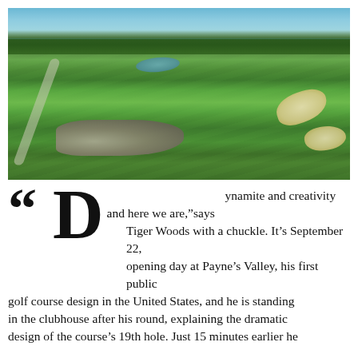[Figure (photo): Aerial panoramic view of a golf course (Payne's Valley) with lush green fairways, sand bunkers, a small pond in the background, rocky outcroppings in the foreground, and forested hills on the horizon under a clear blue sky.]
“Dynamite and creativity and here we are,” says Tiger Woods with a chuckle. It’s September 22, opening day at Payne’s Valley, his first public golf course design in the United States, and he is standing in the clubhouse after his round, explaining the dramatic design of the course’s 19th hole. Just 15 minutes earlier he